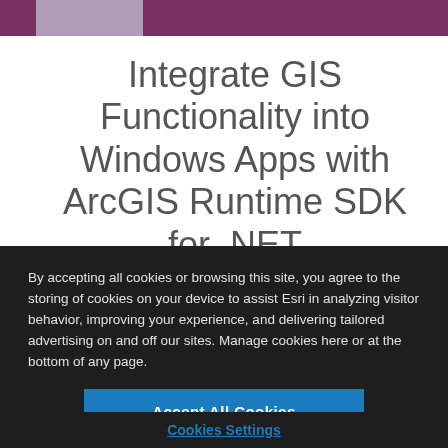Integrate GIS Functionality into Windows Apps with ArcGIS Runtime SDK for .NET
ArcGIS Runtime SDKs
By accepting all cookies or browsing this site, you agree to the storing of cookies on your device to assist Esri in analyzing visitor behavior, improving your experience, and delivering tailored advertising on and off our sites. Manage cookies here or at the bottom of any page.
Accept All Cookies
Cookies Settings